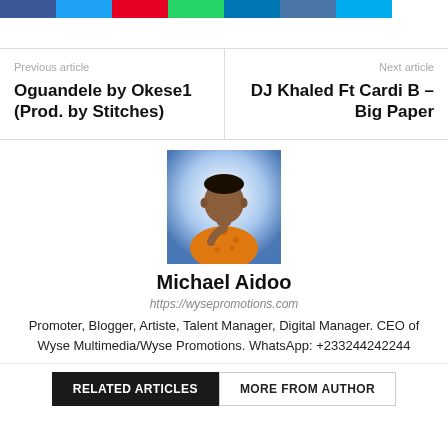[Figure (other): Row of social media share buttons: Facebook (blue), Twitter (light blue), Pinterest (red), WhatsApp (green), LinkedIn (dark blue), VK (slate blue), Messenger (sky blue)]
Previous article
Oguandele by Okese1 (Prod. by Stitches)
Next article
DJ Khaled Ft Cardi B – Big Paper
[Figure (photo): Profile photo of Michael Aidoo, a man wearing an orange patterned sleeveless top, standing against a blue-white gradient background]
Michael Aidoo
https://wysepromotions.com
Promoter, Blogger, Artiste, Talent Manager, Digital Manager. CEO of Wyse Multimedia/Wyse Promotions. WhatsApp: +233244242244
RELATED ARTICLES
MORE FROM AUTHOR